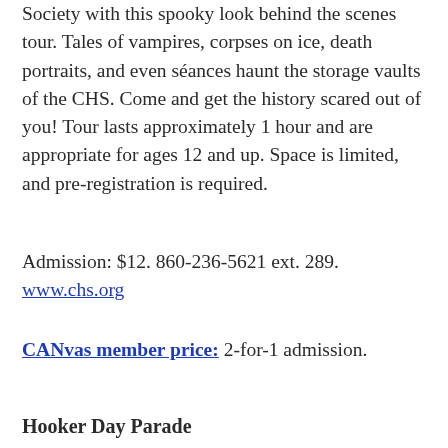Society with this spooky look behind the scenes tour. Tales of vampires, corpses on ice, death portraits, and even séances haunt the storage vaults of the CHS. Come and get the history scared out of you! Tour lasts approximately 1 hour and are appropriate for ages 12 and up. Space is limited, and pre-registration is required.
Admission: $12. 860-236-5621 ext. 289. www.chs.org
CANvas member price: 2-for-1 admission.
Hooker Day Parade